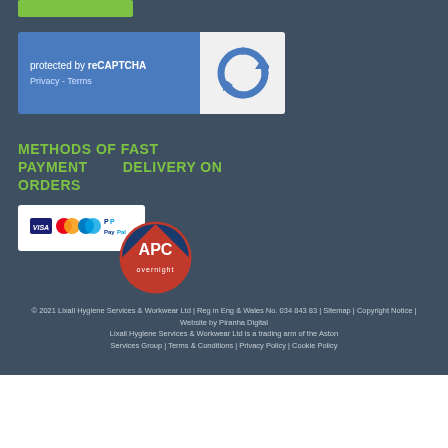[Figure (other): reCAPTCHA widget with blue background showing 'protected by reCAPTCHA' text and Privacy/Terms links, with reCAPTCHA logo on right]
METHODS OF FAST PAYMENT        DELIVERY ON ORDERS
[Figure (other): Payment method logos: Visa, Mastercard, Maestro, PayPal]
[Figure (logo): APC overnight delivery logo - circular red and blue badge]
© 2021 Lixall Hygiene Services & Workwear Ltd | Reg in Eng & Wales No. 034 843 83 | Sitemap | Copyright Notice | Website by Piranha Digital Lixall Hygiene Services & Workwear Ltd is a trading arm of the Aston Services Group | Terms & Conditions | Privacy Policy | Cookie Policy